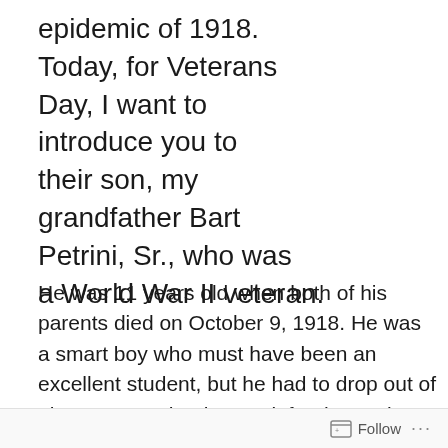epidemic of 1918. Today, for Veterans Day, I want to introduce you to their son, my grandfather Bart Petrini, Sr., who was a World War II veteran.
He was 11 years old when both of his parents died on October 9, 1918. He was a smart boy who must have been an excellent student, but he had to drop out of elementary school to work for the coal mines, in order to support his little sisters. That is what the coal mining companies called life insurance, and it was the only kind of insurance a family like his had: if a miner died,
Follow